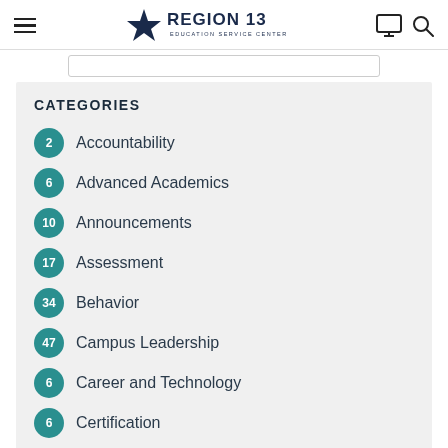Region 13 Education Service Center
CATEGORIES
2 Accountability
6 Advanced Academics
10 Announcements
17 Assessment
34 Behavior
47 Campus Leadership
6 Career and Technology
6 Certification
21 Classroom Instruction
6 Counseling